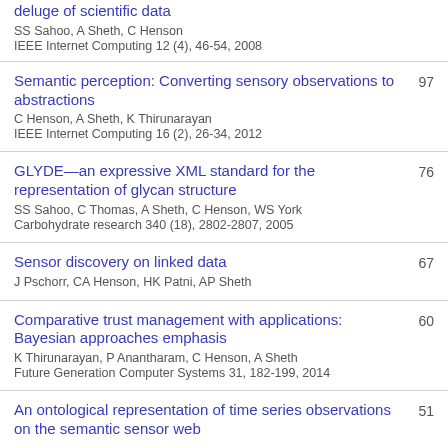deluge of scientific data
SS Sahoo, A Sheth, C Henson
IEEE Internet Computing 12 (4), 46-54, 2008
Semantic perception: Converting sensory observations to abstractions
C Henson, A Sheth, K Thirunarayan
IEEE Internet Computing 16 (2), 26-34, 2012
GLYDE—an expressive XML standard for the representation of glycan structure
SS Sahoo, C Thomas, A Sheth, C Henson, WS York
Carbohydrate research 340 (18), 2802-2807, 2005
Sensor discovery on linked data
J Pschorr, CA Henson, HK Patni, AP Sheth
Comparative trust management with applications: Bayesian approaches emphasis
K Thirunarayan, P Anantharam, C Henson, A Sheth
Future Generation Computer Systems 31, 182-199, 2014
An ontological representation of time series observations on the semantic sensor web